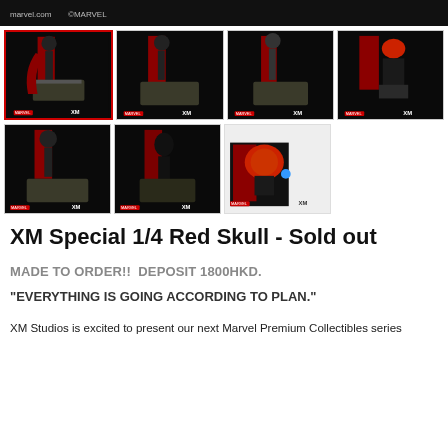[Figure (photo): Top banner with marvel.com and MARVEL logo on dark background]
[Figure (photo): Gallery of 7 product photos showing XM Special 1/4 Red Skull statue from various angles on dark background with red drape]
XM Special 1/4 Red Skull - Sold out
MADE TO ORDER!!  DEPOSIT 1800HKD.
"EVERYTHING IS GOING ACCORDING TO PLAN."
XM Studios is excited to present our next Marvel Premium Collectibles series